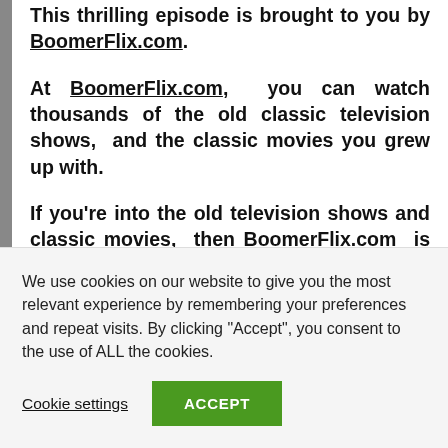This thrilling episode is brought to you by BoomerFlix.com.
At BoomerFlix.com, you can watch thousands of the old classic television shows, and the classic movies you grew up with.
If you're into the old television shows and classic movies, then BoomerFlix.com is just for you. There's a lot to watch and do at BoomerFlix.com. It's truly worth a visit.
Please also visit UncleErich.com, to listen to all the currently available radio podcast categories
We use cookies on our website to give you the most relevant experience by remembering your preferences and repeat visits. By clicking "Accept", you consent to the use of ALL the cookies.